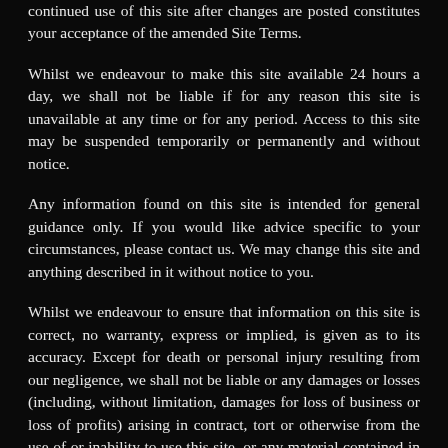continued use of this site after changes are posted constitutes your acceptance of the amended Site Terms.
Whilst we endeavour to make this site available 24 hours a day, we shall not be liable if for any reason this site is unavailable at any time or for any period. Access to this site may be suspended temporarily or permanently and without notice.
Any information found on this site is intended for general guidance only. If you would like advice specific to your circumstances, please contact us. We may change this site and anything described in it without notice to you.
Whilst we endeavour to ensure that information on this site is correct, no warranty, express or implied, is given as to its accuracy. Except for death or personal injury resulting from our negligence, we shall not be liable or any damages or losses (including, without limitation, damages for loss of business or loss of profits) arising in contract, tort or otherwise from the use of or inability to use this site, or any material contained in it, or from any action or decision taken as a result of using this site or any such material.